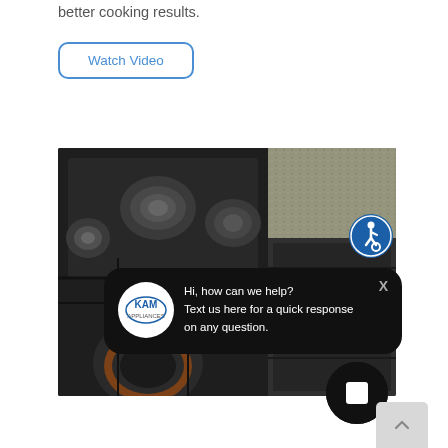better cooking results.
[Figure (other): Watch Video button — rounded rectangle with blue border and blue text]
[Figure (photo): Close-up photo of a gas stove cooktop in dark/stainless steel finish, showing burner knobs and a lit burner with copper/orange ring visible at bottom]
[Figure (other): KAM Appliances chat widget overlay with black rounded background, KAM logo circle, and text: Hi, how can we help? Text us here for a quick response on any question.]
[Figure (other): Blue circular accessibility icon (wheelchair figure) in top right area of photo]
[Figure (other): Black circular chat launcher button with white square stop icon, bottom right]